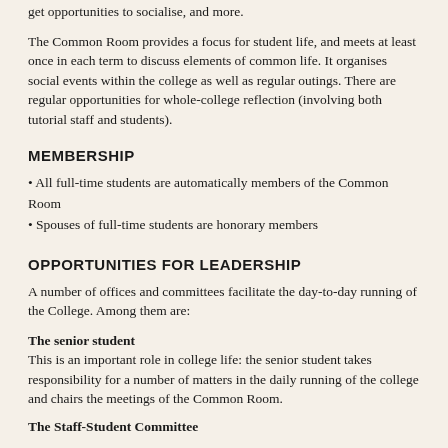get opportunities to socialise, and more.
The Common Room provides a focus for student life, and meets at least once in each term to discuss elements of common life. It organises social events within the college as well as regular outings. There are regular opportunities for whole-college reflection (involving both tutorial staff and students).
MEMBERSHIP
All full-time students are automatically members of the Common Room
Spouses of full-time students are honorary members
OPPORTUNITIES FOR LEADERSHIP
A number of offices and committees facilitate the day-to-day running of the College. Among them are:
The senior student
This is an important role in college life: the senior student takes responsibility for a number of matters in the daily running of the college and chairs the meetings of the Common Room.
The Staff-Student Committee